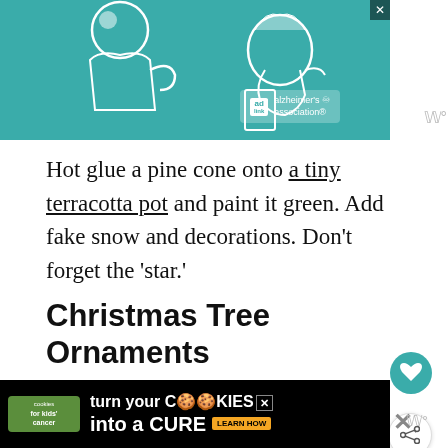[Figure (illustration): Teal/green illustrated advertisement banner showing a person and an elderly woman with Alzheimer's Association logo]
Hot glue a pine cone onto a tiny terracotta pot and paint it green. Add fake snow and decorations. Don’t forget the ‘star.’
Christmas Tree Ornaments
It’s kind of funny when you think about it you get a Christmas tree, which is usually
[Figure (illustration): Bottom advertisement for cookies for kids cancer - turn your cookies into a cure]